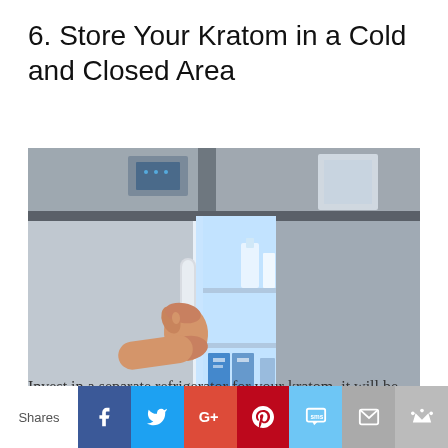6. Store Your Kratom in a Cold and Closed Area
[Figure (photo): A hand gripping the handle of a stainless steel refrigerator with the door slightly open, showing blue-lit interior shelves with items stored inside.]
Invest in a separate refrigerator for your kratom, it will be
Shares | Facebook | Twitter | Google+ | Pinterest | SMS | Email | Crown